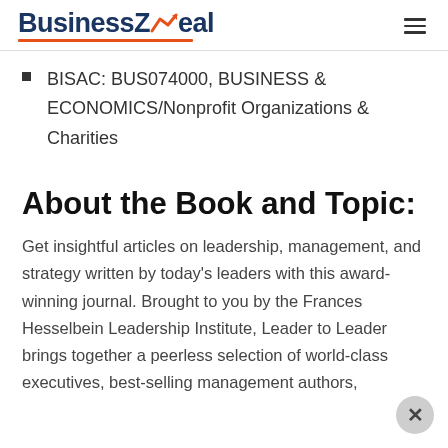BusinessZeal
BISAC: BUS074000, BUSINESS & ECONOMICS/Nonprofit Organizations & Charities
About the Book and Topic:
Get insightful articles on leadership, management, and strategy written by today’s leaders with this award-winning journal. Brought to you by the Frances Hesselbein Leadership Institute, Leader to Leader brings together a peerless selection of world-class executives, best-selling management authors,